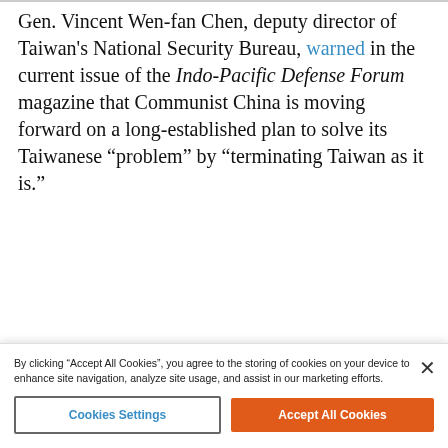Gen. Vincent Wen-fan Chen, deputy director of Taiwan's National Security Bureau, warned in the current issue of the Indo-Pacific Defense Forum magazine that Communist China is moving forward on a long-established plan to solve its Taiwanese “problem” by “terminating Taiwan as it is.”
Chen said Taiwan is standing on the front lines against Chinese influence operations across the Pacific region.
advertisement
[Figure (other): Advertisement banner bar in blue gradient]
By clicking “Accept All Cookies”, you agree to the storing of cookies on your device to enhance site navigation, analyze site usage, and assist in our marketing efforts.
Cookies Settings
Accept All Cookies